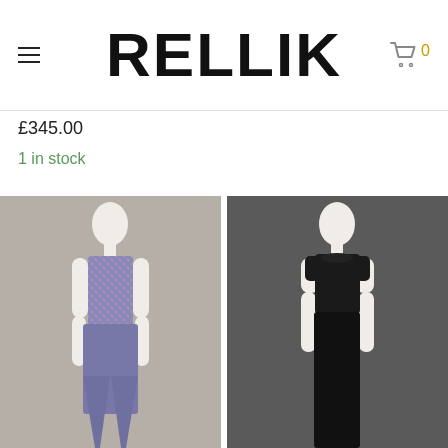RELLIK
£345.00
1 in stock
[Figure (photo): White mannequin wearing a blue/purple floral patterned sleeveless top and wide-leg pants set, photographed against a grey background]
[Figure (photo): White mannequin wearing a black short-sleeve top and long black skirt/dress, photographed against a dark grey background]